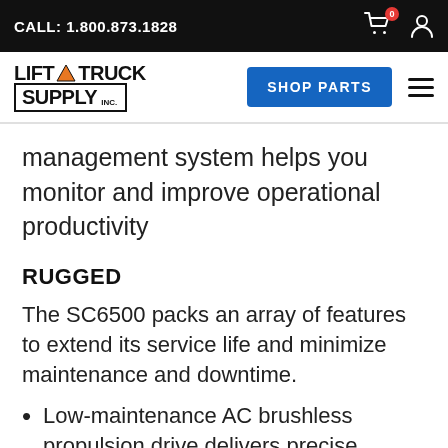CALL: 1.800.873.1828
[Figure (logo): Lift Truck Supply Inc. logo with upward arrow between LIFT and TRUCK, boxed SUPPLY text, and INC. label]
management system helps you monitor and improve operational productivity
RUGGED
The SC6500 packs an array of features to extend its service life and minimize maintenance and downtime.
Low-maintenance AC brushless propulsion drive delivers precise acceleration